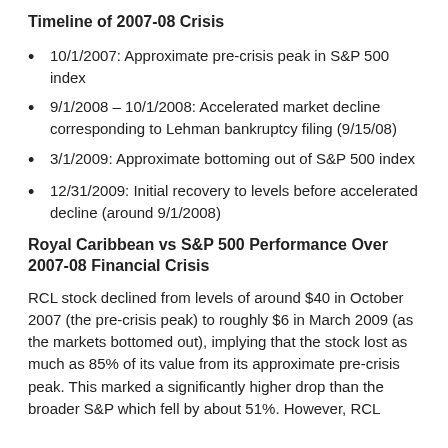Timeline of 2007-08 Crisis
10/1/2007: Approximate pre-crisis peak in S&P 500 index
9/1/2008 – 10/1/2008: Accelerated market decline corresponding to Lehman bankruptcy filing (9/15/08)
3/1/2009: Approximate bottoming out of S&P 500 index
12/31/2009: Initial recovery to levels before accelerated decline (around 9/1/2008)
Royal Caribbean vs S&P 500 Performance Over 2007-08 Financial Crisis
RCL stock declined from levels of around $40 in October 2007 (the pre-crisis peak) to roughly $6 in March 2009 (as the markets bottomed out), implying that the stock lost as much as 85% of its value from its approximate pre-crisis peak. This marked a significantly higher drop than the broader S&P which fell by about 51%. However, RCL